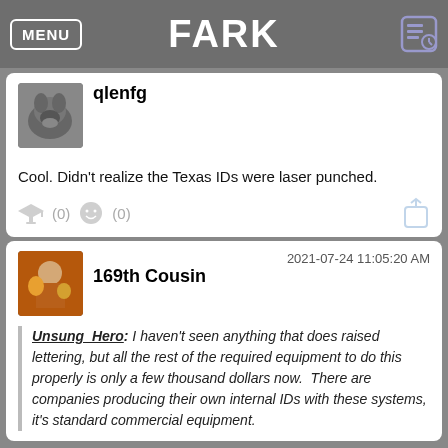MENU | FARK
qlenfg
Cool. Didn't realize the Texas IDs were laser punched.
2021-07-24 11:05:20 AM
169th Cousin
Unsung_Hero: I haven't seen anything that does raised lettering, but all the rest of the required equipment to do this properly is only a few thousand dollars now.  There are companies producing their own internal IDs with these systems, it's standard commercial equipment.